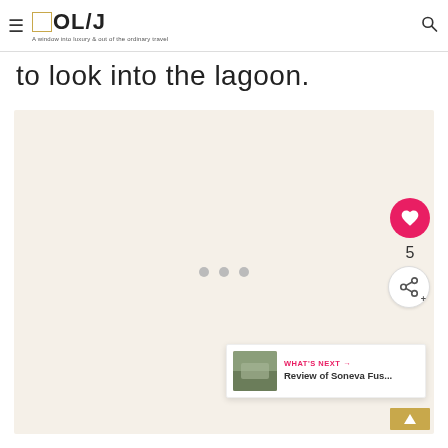OL/J - A window into luxury & out of the ordinary travel
to look into the lagoon.
[Figure (photo): Large image placeholder area with a beige/tan background showing three loading dots in the center, indicating an image of a lagoon view that is loading.]
WHAT'S NEXT → Review of Soneva Fus...